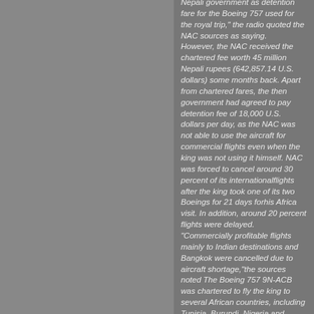Nepali government as detention fare for the Boeing 757 used for the royal trip," the radio quoted the NAC sources as saying. However, the NAC received the chartered fee worth 45 million Nepali rupees (642,857.14 U.S. dollars) some months back. Apart from chartered fares, the then government had agreed to pay detention fee of 18,000 U.S. dollars per day, as the NAC was not able to use the aircraft for commercial flights even when the king was not using it himself. NAC was forced to cancel around 30 percent of its international flights after the king took one of its two Boeings for 21 days for his Africa visit. In addition, around 20 percent flights were delayed. "Commercially profitable flights mainly to Indian destinations and Bangkok were cancelled due to aircraft shortage,"the sources noted The Boeing 757 9N-ACB was chartered to fly the king to several African countries, including Tunisia, Burundi, Nigeria and Egypt, starting from November 13. "The aircraft flew a total of 48 hours," the sources